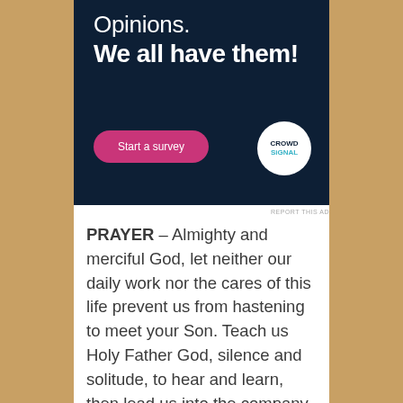[Figure (other): Advertisement banner with dark navy background. Text reads 'Opinions. We all have them!' with a pink 'Start a survey' button and Crowdsignal logo circle.]
REPORT THIS AD
PRAYER – Almighty and merciful God, let neither our daily work nor the cares of this life prevent us from hastening to meet your Son. Teach us Holy Father God, silence and solitude, to hear and learn, then lead us into the company of Your Son, as He comes to save us! And may His Mother and ours, the most pure Virgin Mary be our intercessor and advocate. We make our prayer through Christ our Lord, in the unity of the Holy Spirit, God forever...